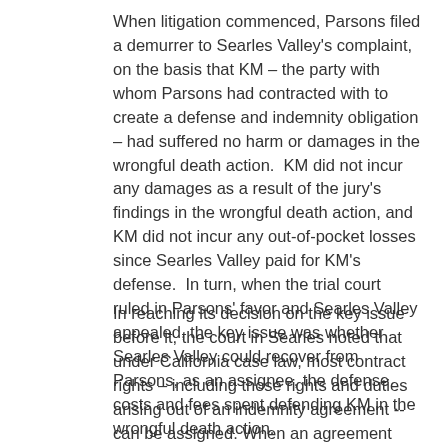When litigation commenced, Parsons filed a demurrer to Searles Valley's complaint, on the basis that KM – the party with whom Parsons had contracted with to create a defense and indemnity obligation – had suffered no harm or damages in the wrongful death action.  KM did not incur any damages as a result of the jury's findings in the wrongful death action, and KM did not incur any out-of-pocket losses since Searles Valley paid for KM's defense.  In turn, when the trial court ruled in Parsons' favor and Searles Valley appealed, the key issue was whether Searles Valley could recover from Parsons, as an assignee, the defense costs and fees spent defending KM in the wrongful death action.
In reaching its decision on the key issue before it, the court in Searles noted that under California case law, most contract rights – including those rights and duties arising out of an indemnity agreement -- can be assigned. When an agreement contains an...